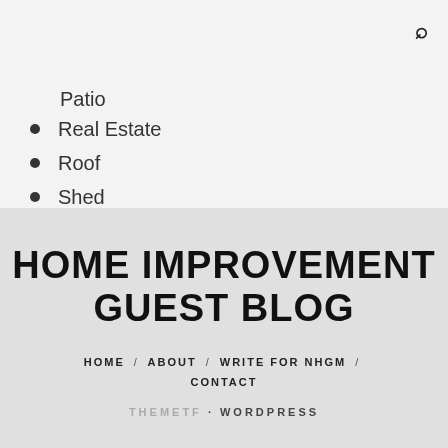Patio
Real Estate
Roof
Shed
Window
HOME IMPROVEMENT GUEST BLOG
HOME / ABOUT / WRITE FOR NHGM / CONTACT
THEMETF · WORDPRESS